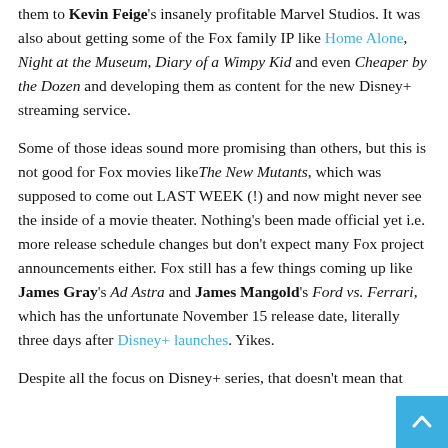them to Kevin Feige's insanely profitable Marvel Studios. It was also about getting some of the Fox family IP like Home Alone, Night at the Museum, Diary of a Wimpy Kid and even Cheaper by the Dozen and developing them as content for the new Disney+ streaming service.

Some of those ideas sound more promising than others, but this is not good for Fox movies like The New Mutants, which was supposed to come out LAST WEEK (!) and now might never see the inside of a movie theater. Nothing's been made official yet i.e. more release schedule changes but don't expect many Fox project announcements either. Fox still has a few things coming up like James Gray's Ad Astra and James Mangold's Ford vs. Ferrari, which has the unfortunate November 15 release date, literally three days after Disney+ launches. Yikes.

Despite all the focus on Disney+ series, that doesn't mean that